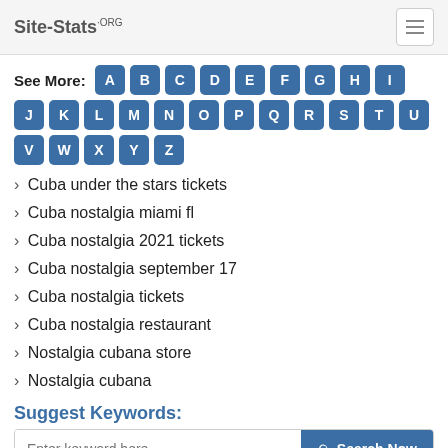Site-Stats.ORG
See More: A B C D E F G H I J K L M N O P Q R S T U V W X Y Z
Cuba under the stars tickets
Cuba nostalgia miami fl
Cuba nostalgia 2021 tickets
Cuba nostalgia september 17
Cuba nostalgia tickets
Cuba nostalgia restaurant
Nostalgia cubana store
Nostalgia cubana
Suggest Keywords:
Enter keyword here  Search Now